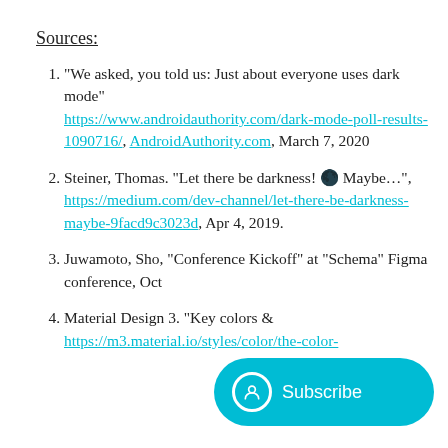Sources:
"We asked, you told us: Just about everyone uses dark mode" https://www.androidauthority.com/dark-mode-poll-results-1090716/, AndroidAuthority.com, March 7, 2020
Steiner, Thomas. "Let there be darkness! 🌑 Maybe…", https://medium.com/dev-channel/let-there-be-darkness-maybe-9facd9c3023d, Apr 4, 2019.
Juwamoto, Sho, "Conference Kickoff" at "Schema" Figma conference, Oct [truncated]
Material Design 3. "Key colors & [truncated] https://m3.material.io/styles/color/the-color-[truncated]